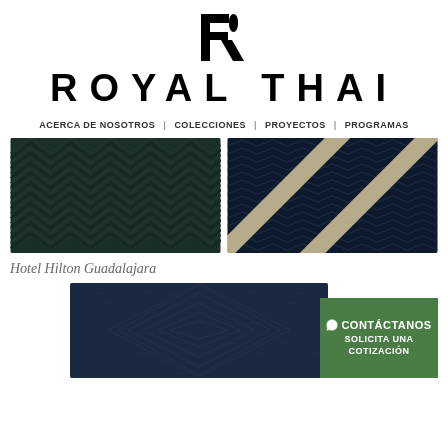[Figure (logo): Royal Thai logo - stylized R letter mark in black]
ROYAL THAI
ACERCA DE NOSOTROS | COLECCIONES | PROYECTOS | PROGRAMAS
[Figure (photo): Close-up of dark textured fabric with chevron/zigzag pattern in dark teal/navy]
[Figure (photo): Dark navy fabric with cream/beige diagonal stripe overlay and zigzag pattern]
Hotel Hilton Guadalajara
[Figure (photo): Close-up of dark blue/navy textured rug with diamond geometric pattern]
CONTÁCTANOS SOLICITA UNA COTIZACIÓN